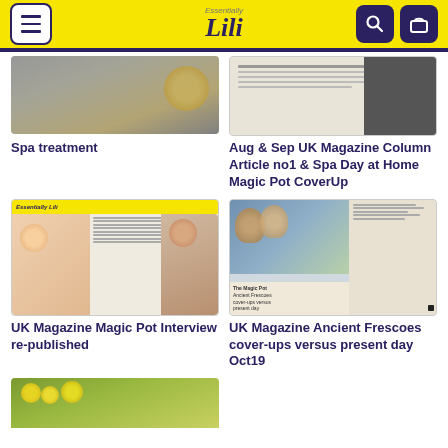Essentially Lili — navigation header with menu, logo, search and cart icons
[Figure (photo): Spa treatment image showing a bowl with lemon and dark substance, partially cropped at top]
Spa treatment
[Figure (photo): UK Magazine spread showing column articles about Spa Day at Home Magic Pot CoverUp, partially cropped at top]
Aug & Sep UK Magazine Column Article no1 & Spa Day at Home Magic Pot CoverUp
[Figure (photo): Essentially Lili UK Magazine spread showing Magic Pot interview with woman smiling and another woman portrait]
UK Magazine Magic Pot Interview re-published
[Figure (photo): UK Magazine article about Ancient Frescoes cover-ups versus present day, Oct19, showing colorful illustrations]
UK Magazine Ancient Frescoes cover-ups versus present day Oct19
[Figure (photo): Yellow flowers partially visible at bottom left, cropped]